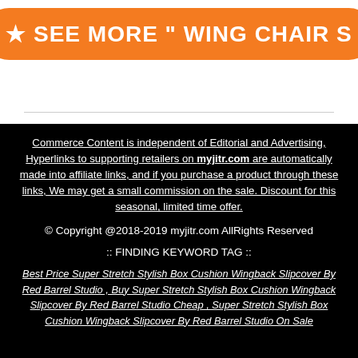[Figure (other): Orange rounded button with star and text: SEE MORE " WING CHAIR S]
Commerce Content is independent of Editorial and Advertising, Hyperlinks to supporting retailers on myjitr.com are automatically made into affiliate links, and if you purchase a product through these links, We may get a small commission on the sale. Discount for this seasonal, limited time offer.
© Copyright @2018-2019 myjitr.com AllRights Reserved
:: FINDING KEYWORD TAG ::
Best Price Super Stretch Stylish Box Cushion Wingback Slipcover By Red Barrel Studio , Buy Super Stretch Stylish Box Cushion Wingback Slipcover By Red Barrel Studio Cheap , Super Stretch Stylish Box Cushion Wingback Slipcover By Red Barrel Studio On Sale